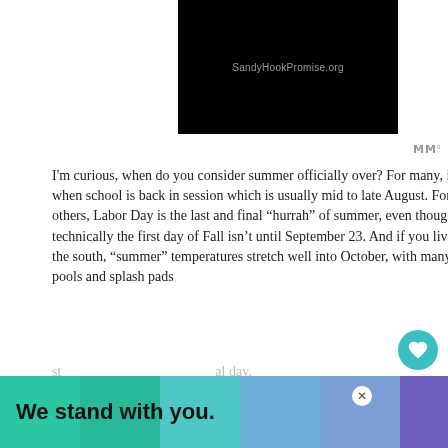[Figure (screenshot): Black video thumbnail with SandyHookPromise.org URL text in gray]
I'm curious, when do you consider summer officially over? For many, it is when school is back in session which is usually mid to late August. For others, Labor Day is the last and final “hurrah” of summer, even though technically the first day of Fall isn’t until September 23. And if you live in the south, “summer” temperatures stretch well into October, with many pools and splash pads
[Figure (screenshot): Advertisement banner with colored segments and text 'We stand with you.' with close button]